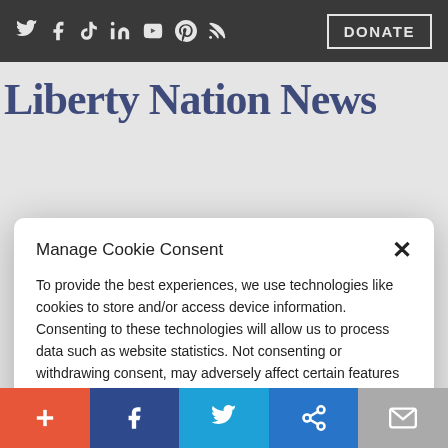Liberty Nation News — top navigation bar with social icons and DONATE button
Liberty Nation News
Manage Cookie Consent
To provide the best experiences, we use technologies like cookies to store and/or access device information. Consenting to these technologies will allow us to process data such as website statistics. Not consenting or withdrawing consent, may adversely affect certain features and functions.
Accept
Cookie Policy  Privacy Policy
By: John Dempsey |  September 03, 2018 · 3:00 pm | Articles, Immigration, Law, Politics
Share bar: plus, facebook, twitter, link, mail